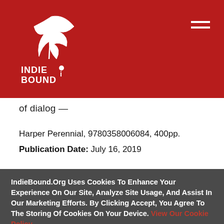[Figure (logo): IndieBound logo — white feather/book graphic with INDIE BOUND text on red background]
of dialog —
Harper Perennial, 9780358006084, 400pp.
Publication Date: July 16, 2019
IndieBound.Org Uses Cookies To Enhance Your Experience On Our Site, Analyze Site Usage, And Assist In Our Marketing Efforts. By Clicking Accept, You Agree To The Storing Of Cookies On Your Device. View Our Cookie Policy.
Give me more info
Accept all Cookies